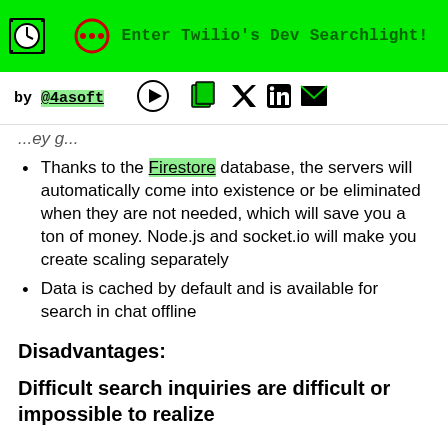Enter Twilio's Dev Searchlight!
by @4asoft
...ey g...
Thanks to the Firestore database, the servers will automatically come into existence or be eliminated when they are not needed, which will save you a ton of money. Node.js and socket.io will make you create scaling separately
Data is cached by default and is available for search in chat offline
Disadvantages:
Difficult search inquiries are difficult or impossible to realize